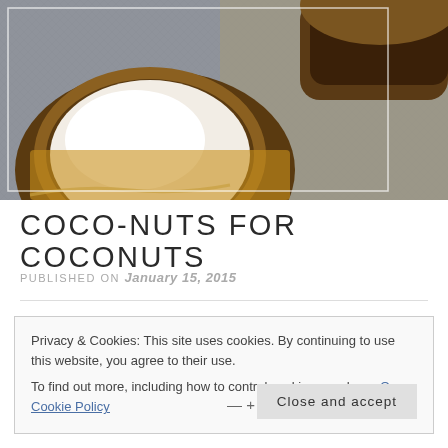[Figure (photo): Close-up photograph of opened coconuts showing white coconut flesh and brown shell, placed on a textured burlap/linen surface]
COCO-NUTS FOR COCONUTS
PUBLISHED ON January 15, 2015
Privacy & Cookies: This site uses cookies. By continuing to use this website, you agree to their use.
To find out more, including how to control cookies, see here: Our Cookie Policy